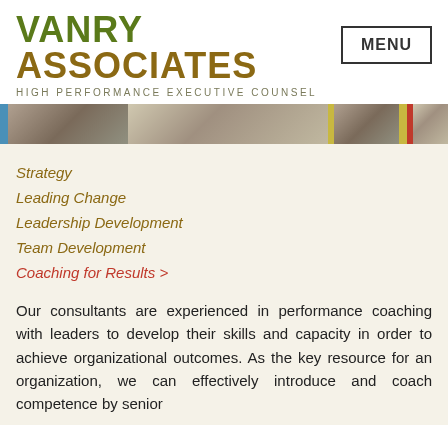VANRY ASSOCIATES — HIGH PERFORMANCE EXECUTIVE COUNSEL | MENU
[Figure (photo): Horizontal banner strip with multiple photo segments showing people in business settings, with colored accent blocks in olive, brown, red, and tan.]
Strategy
Leading Change
Leadership Development
Team Development
Coaching for Results >
Our consultants are experienced in performance coaching with leaders to develop their skills and capacity in order to achieve organizational outcomes. As the key resource for an organization, we can effectively introduce and coach competence by senior